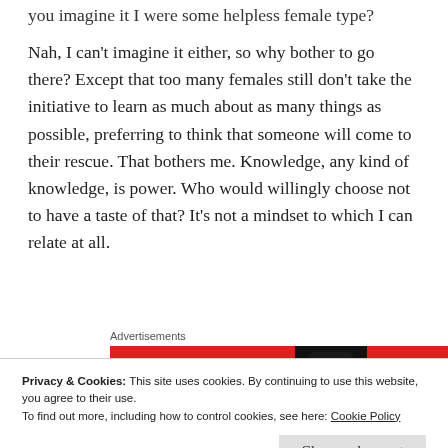you imagine it I were some helpless female type?
Nah, I can't imagine it either, so why bother to go there? Except that too many females still don't take the initiative to learn as much about as many things as possible, preferring to think that someone will come to their rescue. That bothers me. Knowledge, any kind of knowledge, is power. Who would willingly choose not to have a taste of that? It's not a mindset to which I can relate at all.
[Figure (screenshot): Pocket Casts advertisement banner: red background with text 'An app by listeners, for listeners.' and Pocket Casts logo, with phone graphic showing 'Distributed' text]
Privacy & Cookies: This site uses cookies. By continuing to use this website, you agree to their use.
To find out more, including how to control cookies, see here: Cookie Policy
need ... No, I don't have Bret's mathematical mind, but I